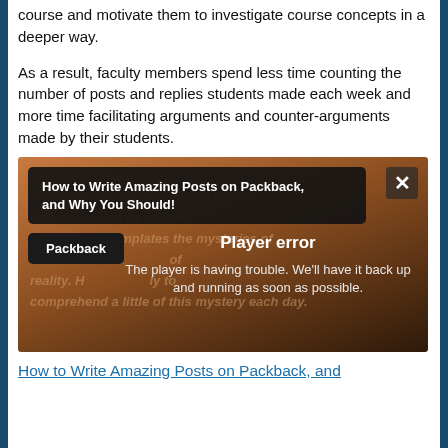course and motivate them to investigate course concepts in a deeper way.
As a result, faculty members spend less time counting the number of posts and replies students made each week and more time facilitating arguments and counter-arguments made by their students.
[Figure (screenshot): Embedded video player showing a Packback video titled 'How to Write Amazing Posts on Packback, and Why You Should!' with a 'Player error' message overlay reading 'The player is having trouble. We'll have it back up and running as soon as possible.' Background shows italic quote text partially visible.]
How to Write Amazing Posts on Packback, and